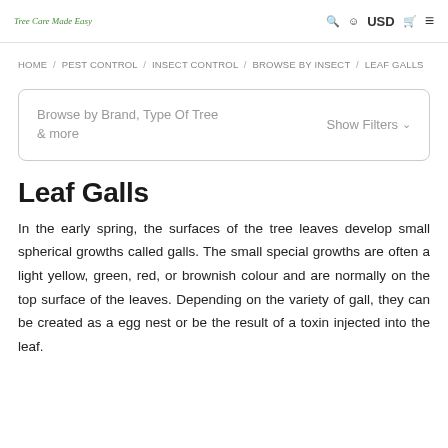Tree Care Made Easy | USD
HOME / PEST CONTROL / INSECT CONTROL / BROWSE BY INSECT / LEAF GALLS
Browse by Brand, Type Of Tree & more   Show Filters
Leaf Galls
In the early spring, the surfaces of the tree leaves develop small spherical growths called galls. The small special growths are often a light yellow, green, red, or brownish colour and are normally on the top surface of the leaves. Depending on the variety of gall, they can be created as a egg nest or be the result of a toxin injected into the leaf.